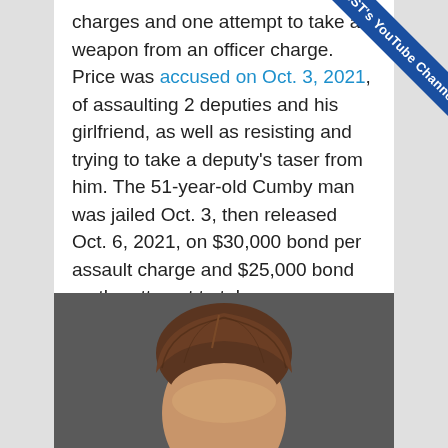charges and one attempt to take a weapon from an officer charge. Price was accused on Oct. 3, 2021, of assaulting 2 deputies and his girlfriend, as well as resisting and trying to take a deputy's taser from him. The 51-year-old Cumby man was jailed Oct. 3, then released Oct. 6, 2021, on $30,000 bond per assault charge and $25,000 bond on the attempt to take weapon charge.
[Figure (photo): Mugshot photo showing the top portion of a person's head with brown hair against a dark gray background.]